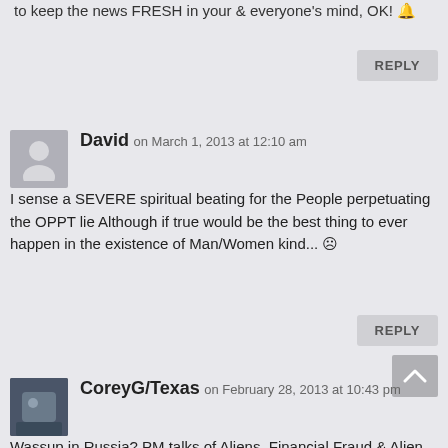to keep the news FRESH in your & everyone's mind, OK! 🔔
REPLY
David on March 1, 2013 at 12:10 am
I sense a SEVERE spiritual beating for the People perpetuating the OPPT lie Although if true would be the best thing to ever happen in the existence of Man/Women kind... ☹
REPLY
CoreyG/Texas on February 28, 2013 at 10:43 pm
Wassup in Russia? PM talks of Aliens, Financial Fraud & Alien Documentaries, Sorcha Faal & other Dis-info, Meteors. There is something BIG going on in Russia (As well as India & China). Something that the Western Cabal IS